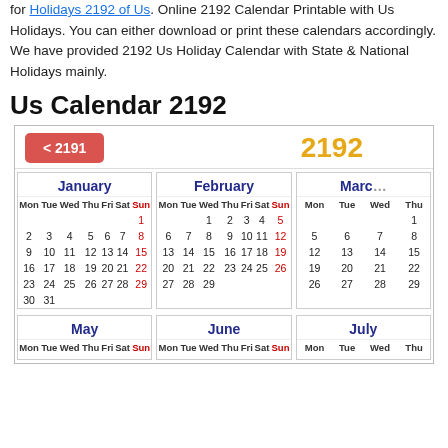for Holidays 2192 of Us. Online 2192 Calendar Printable with Us Holidays. You can either download or print these calendars accordingly. We have provided 2192 Us Holiday Calendar with State & National Holidays mainly.
Us Calendar 2192
[Figure (other): 2192 Us Calendar with month grids for January, February, March (partial), May, June, July (partial). Navigation button '< 2191' in red and year '2192' in orange. Mon-Sun columns with Sunday dates in red.]